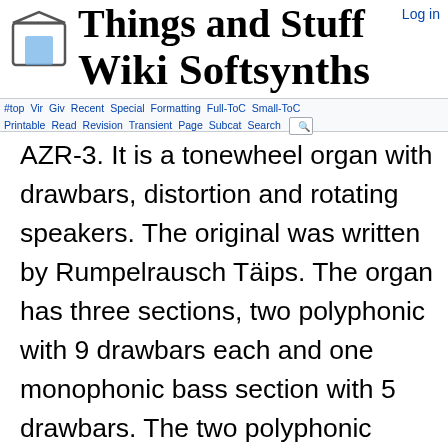Things and Stuff Wiki Sofsynths
AZR-3. It is a tonewheel organ with drawbars, distortion and rotating speakers. The original was written by Rumpelrausch Täips. The organ has three sections, two polyphonic with 9 drawbars each and one monophonic bass section with 5 drawbars. The two polyphonic sections respond to events on MIDI channel 1 and 2, and an optional keyboard split function makes the bass section listen to the lower keys on channel 1. The three sections have separate sustain and percussion switches as well as